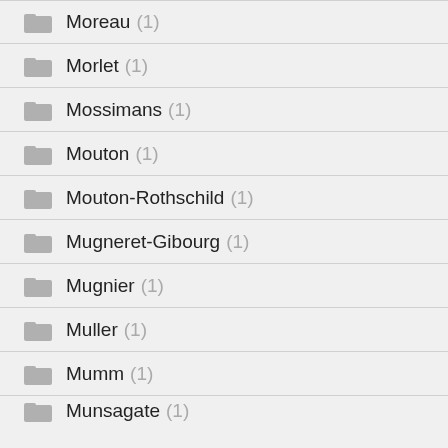Moreau (1)
Morlet (1)
Mossimans (1)
Mouton (1)
Mouton-Rothschild (1)
Mugneret-Gibourg (1)
Mugnier (1)
Muller (1)
Mumm (1)
Munsagate (1)